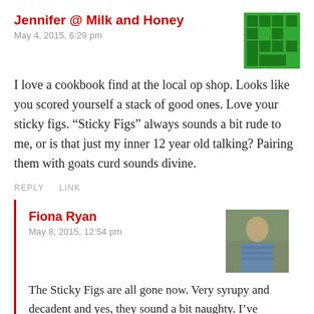Jennifer @ Milk and Honey
May 4, 2015, 6:29 pm
[Figure (other): Pixel art avatar icon in green and black on green background]
I love a cookbook find at the local op shop. Looks like you scored yourself a stack of good ones. Love your sticky figs. “Sticky Figs” always sounds a bit rude to me, or is that just my inner 12 year old talking? Pairing them with goats curd sounds divine.
REPLY   LINK
Fiona Ryan
May 8, 2015, 12:54 pm
[Figure (photo): Profile photo of a woman outdoors]
The Sticky Figs are all gone now. Very syrupy and decadent and yes, they sound a bit naughty. I’ve finished ‘Stuffed’ now – it’s OK but not something I’d re-read so I’ll be passing it on.